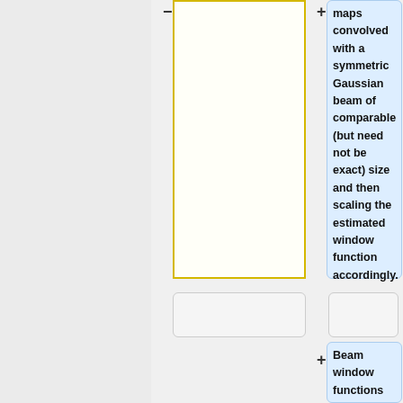maps convolved with a symmetric Gaussian beam of comparable (but need not be exact) size and then scaling the estimated window function accordingly.
Beam window functions are provided in the [[The RIMO#Beam Window Functions|RIMO]].